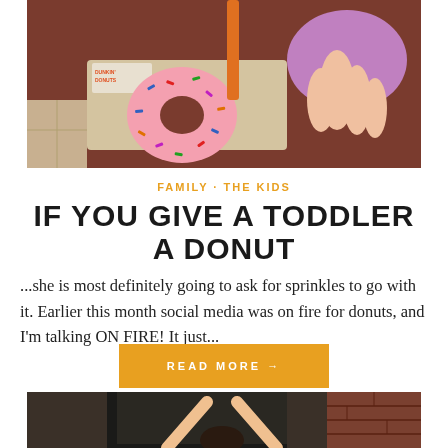[Figure (photo): Overhead view of Dunkin' Donuts box with a pink sprinkled donut and a child's hand reaching for it]
FAMILY · THE KIDS
IF YOU GIVE A TODDLER A DONUT
...she is most definitely going to ask for sprinkles to go with it. Earlier this month social media was on fire for donuts, and I'm talking ON FIRE! It just...
READ MORE →
[Figure (photo): Child with arms raised up, standing in front of a dark background with brick wall visible]